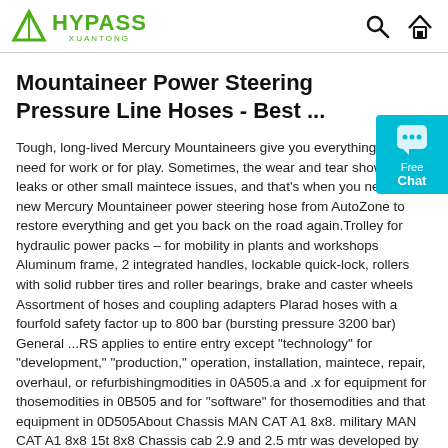HYPASS XUANTONG
Mountaineer Power Steering Pressure Line Hoses - Best ...
Tough, long-lived Mercury Mountaineers give you everything you need for work or for play. Sometimes, the wear and tear shows it with leaks or other small maintece issues, and that's when you need a new Mercury Mountaineer power steering hose from AutoZone to restore everything and get you back on the road again.Trolley for hydraulic power packs – for mobility in plants and workshops Aluminum frame, 2 integrated handles, lockable quick-lock, rollers with solid rubber tires and roller bearings, brake and caster wheels Assortment of hoses and coupling adapters Plarad hoses with a fourfold safety factor up to 800 bar (bursting pressure 3200 bar) General ...RS applies to entire entry except "technology" for "development," "production," operation, installation, maintece, repair, overhaul, or refurbishingmodities in 0A505.a and .x for equipment for thosemodities in 0B505 and for "software" for thosemodities and that equipment in 0D505About Chassis MAN CAT A1 8x8. military MAN CAT A1 8x8 15t 8x8 Chassis cab 2.9 and 2.5 mtr was developed by MAN trucks to amodatn loads with high centres of